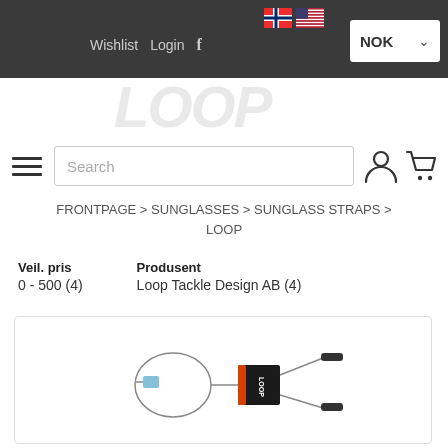Wishlist  Login  f  NOK ▾  [Norwegian flag] [US flag]
[Figure (logo): LOOP brand logo in light gray italic text]
Search
FRONTPAGE > SUNGLASSES > SUNGLASS STRAPS > LOOP
Veil. pris
0 - 500 (4)
Produsent
Loop Tackle Design AB (4)
[Figure (photo): Product photo of a Loop sunglass strap/retainer with metal wire loop and rubber tips, shown against a white background inside a product card]